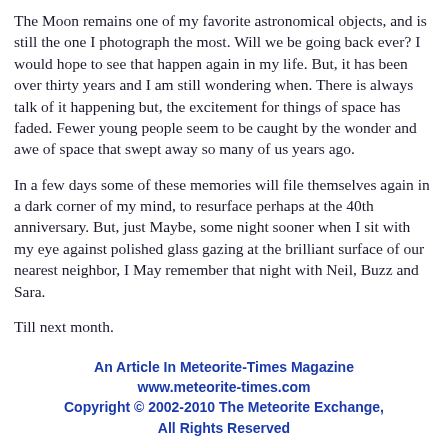The Moon remains one of my favorite astronomical objects, and is still the one I photograph the most. Will we be going back ever? I would hope to see that happen again in my life. But, it has been over thirty years and I am still wondering when. There is always talk of it happening but, the excitement for things of space has faded. Fewer young people seem to be caught by the wonder and awe of space that swept away so many of us years ago.
In a few days some of these memories will file themselves again in a dark corner of my mind, to resurface perhaps at the 40th anniversary. But, just Maybe, some night sooner when I sit with my eye against polished glass gazing at the brilliant surface of our nearest neighbor, I May remember that night with Neil, Buzz and Sara.
Till next month.
An Article In Meteorite-Times Magazine
www.meteorite-times.com
Copyright © 2002-2010 The Meteorite Exchange,
All Rights Reserved